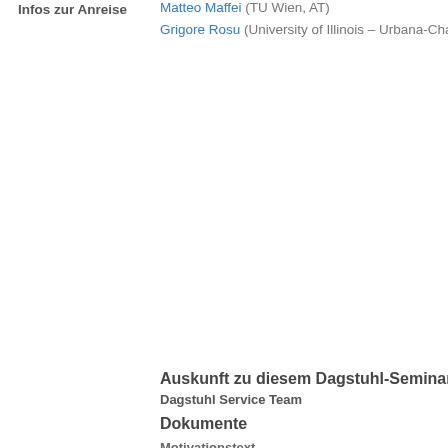Infos zur Anreise
Matteo Maffei (TU Wien, AT)
Grigore Rosu (University of Illinois – Urbana-Champ
Auskunft zu diesem Dagstuhl-Seminar
Dagstuhl Service Team
Dokumente
Motivationstext